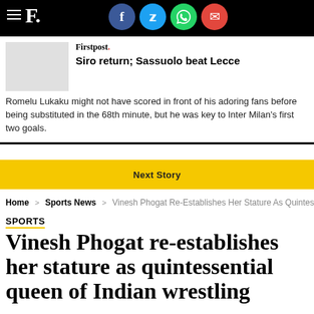Firstpost
Siro return; Sassuolo beat Lecce
Romelu Lukaku might not have scored in front of his adoring fans before being substituted in the 68th minute, but he was key to Inter Milan's first two goals.
Next Story
Home > Sports News > Vinesh Phogat Re-Establishes Her Stature As Quintes
SPORTS
Vinesh Phogat re-establishes her stature as quintessential queen of Indian wrestling